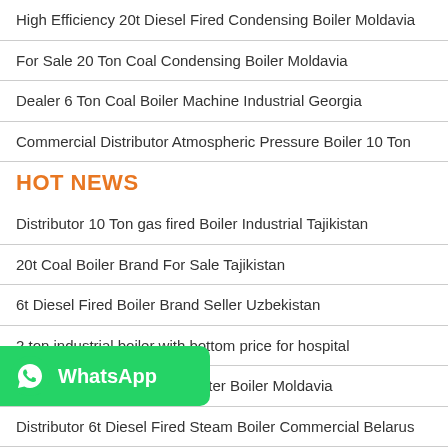High Efficiency 20t Diesel Fired Condensing Boiler Moldavia
For Sale 20 Ton Coal Condensing Boiler Moldavia
Dealer 6 Ton Coal Boiler Machine Industrial Georgia
Commercial Distributor Atmospheric Pressure Boiler 10 Ton
HOT NEWS
Distributor 10 Ton gas fired Boiler Industrial Tajikistan
20t Coal Boiler Brand For Sale Tajikistan
6t Diesel Fired Boiler Brand Seller Uzbekistan
2 ton industrial boiler with bottom price for hospital
...ater Boiler Moldavia
Distributor 6t Diesel Fired Steam Boiler Commercial Belarus